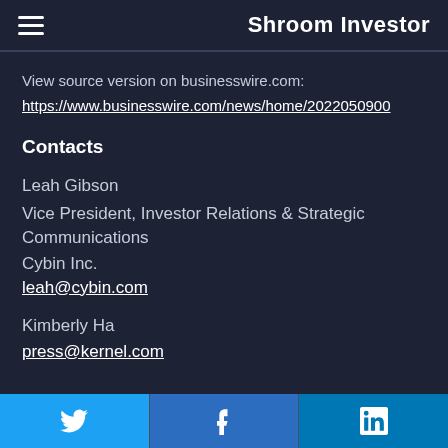Shroom Investor
View source version on businesswire.com:
https://www.businesswire.com/news/home/2022050900
Contacts
Leah Gibson
Vice President, Investor Relations & Strategic Communications
Cybin Inc.
leah@cybin.com
Kimberly Ha
press@kernel.com
Twitter  Facebook  LinkedIn